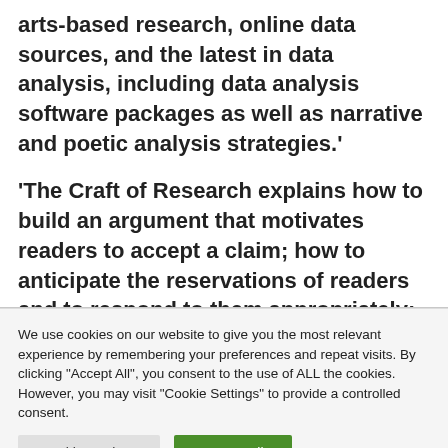arts-based research, online data sources, and the latest in data analysis, including data analysis software packages as well as narrative and poetic analysis strategies.'
'The Craft of Research explains how to build an argument that motivates readers to accept a claim; how to anticipate the reservations of readers and to respond to them appropriately; and how to create
We use cookies on our website to give you the most relevant experience by remembering your preferences and repeat visits. By clicking "Accept All", you consent to the use of ALL the cookies. However, you may visit "Cookie Settings" to provide a controlled consent.